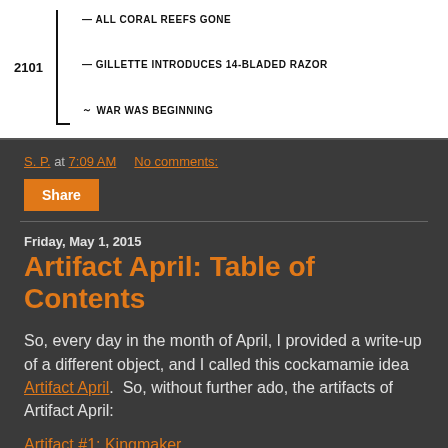[Figure (illustration): Comic strip panel showing a timeline with year 2101. Three entries on a vertical bracket: 'ALL CORAL REEFS GONE', 'GILLETTE INTRODUCES 14-BLADED RAZOR', and 'WAR WAS BEGINNING'. Hand-drawn style white background.]
S. P. at 7:09 AM    No comments:
Share
Friday, May 1, 2015
Artifact April: Table of Contents
So, every day in the month of April, I provided a write-up of a different object, and I called this cockamamie idea Artifact April.  So, without further ado, the artifacts of Artifact April:
Artifact #1: Kingmaker
Artifact #2: Samuel's Eye